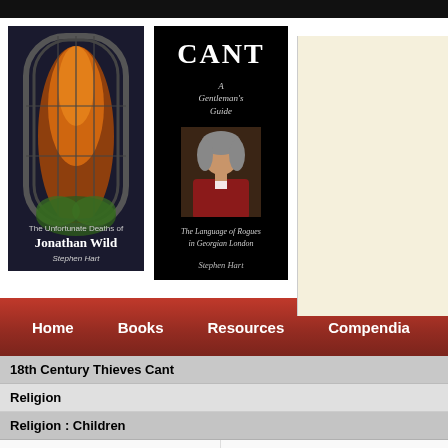[Figure (photo): Book cover: The Unfortunate Deaths of Jonathan Wild by Stephen Hart — dark gothic arch with fire imagery]
[Figure (photo): Book cover: CANT — A Gentleman's Guide, The Language of Rogues in Georgian London by Stephen Hart — black cover with portrait of a Georgian gentleman]
[Figure (other): Advertisement box — cream/beige colored box]
Home  Books  Resources  Compendia  Databases  N...
| Term | Definition |
| --- | --- |
| 18th Century Thieves Cant |  |
| Religion |  |
| Religion : Children |  |
| BANTLING | a Child. |
| BANTLING | A young child. |
| BRAT | a little Child. |
| BRAT | A child or infant. |